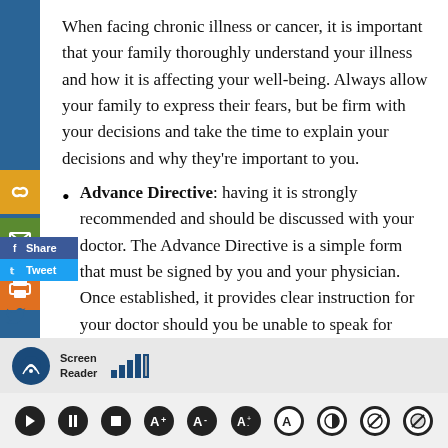When facing chronic illness or cancer, it is important that your family thoroughly understand your illness and how it is affecting your well-being. Always allow your family to express their fears, but be firm with your decisions and take the time to explain your decisions and why they're important to you.
Advance Directive: having it is strongly recommended and should be discussed with your doctor. The Advance Directive is a simple form that must be signed by you and your physician. Once established, it provides clear instruction for your doctor should you be unable to speak for yourself during a